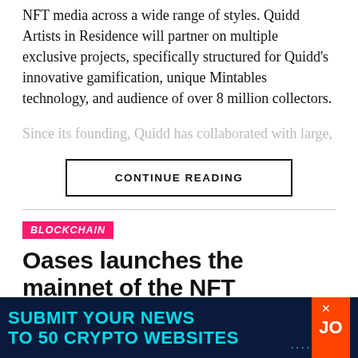NFT media across a wide range of styles. Quidd Artists in Residence will partner on multiple exclusive projects, specifically structured for Quidd's innovative gamification, unique Mintables technology, and audience of over 8 million collectors.
Since its founding, Quidd has collaborated with large,
CONTINUE READING
BLOCKCHAIN
Oases launches the mainnet of the NFT marketplace, with INO platform
[Figure (infographic): Advertisement banner: dark navy background with cyan bold text reading 'SUBMIT YOUR NEWS TO 50 CRYPTO WEBSITES' with ellipsis dots, an 'x' close button, and an orange logo block on the right showing 'JO']